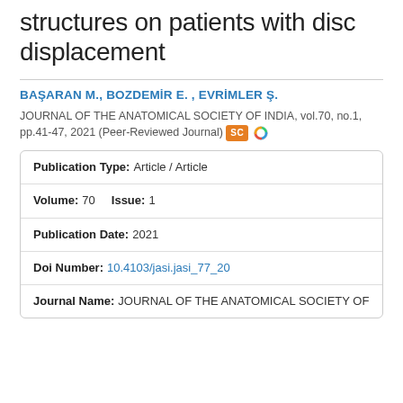structures on patients with disc displacement
BAŞARAN M., BOZDEMİR E. , EVRİMLER Ş.
JOURNAL OF THE ANATOMICAL SOCIETY OF INDIA, vol.70, no.1, pp.41-47, 2021 (Peer-Reviewed Journal)
| Field | Value |
| --- | --- |
| Publication Type: | Article / Article |
| Volume: | 70   Issue:  1 |
| Publication Date: | 2021 |
| Doi Number: | 10.4103/jasi.jasi_77_20 |
| Journal Name: | JOURNAL OF THE ANATOMICAL SOCIETY OF |